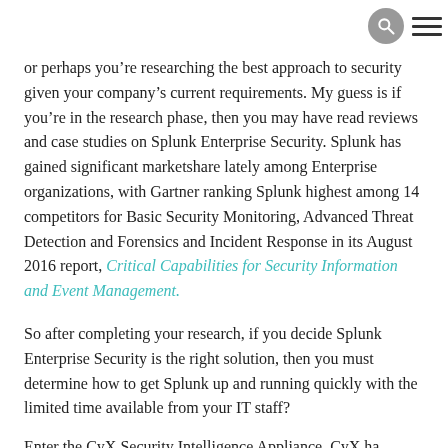[search icon] [menu icon]
or perhaps you’re researching the best approach to security given your company’s current requirements. My guess is if you’re in the research phase, then you may have read reviews and case studies on Splunk Enterprise Security. Splunk has gained significant marketshare lately among Enterprise organizations, with Gartner ranking Splunk highest among 14 competitors for Basic Security Monitoring, Advanced Threat Detection and Forensics and Incident Response in its August 2016 report, Critical Capabilities for Security Information and Event Management.
So after completing your research, if you decide Splunk Enterprise Security is the right solution, then you must determine how to get Splunk up and running quickly with the limited time available from your IT staff?
Enter the CyX Security Intelligence Appliance. CyX has...